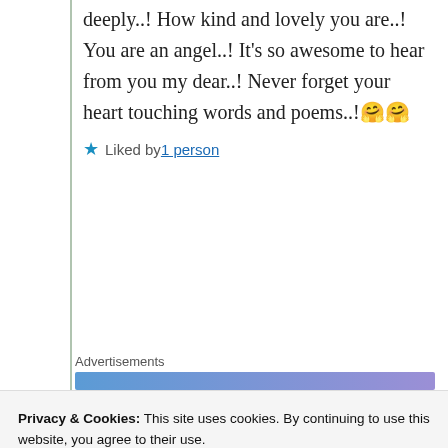deeply..! How kind and lovely you are..! You are an angel..! It’s so awesome to hear from you my dear..! Never forget your heart touching words and poems..!🤗🤗
★ Liked by 1 person
Advertisements
Privacy & Cookies: This site uses cookies. By continuing to use this website, you agree to their use. To find out more, including how to control cookies, see here: Cookie Policy
Close and accept
Rabbia